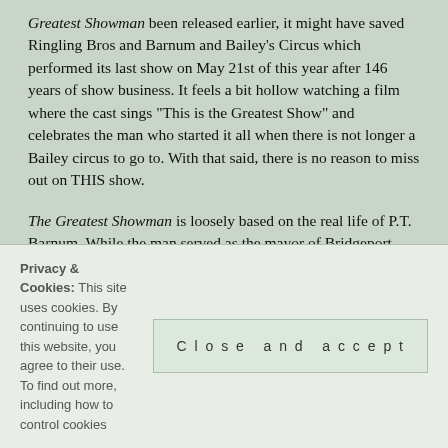Greatest Showman been released earlier, it might have saved Ringling Bros and Barnum and Bailey's Circus which performed its last show on May 21st of this year after 146 years of show business. It feels a bit hollow watching a film where the cast sings "This is the Greatest Show" and celebrates the man who started it all when there is not longer a Bailey circus to go to. With that said, there is no reason to miss out on THIS show.
The Greatest Showman is loosely based on the real life of P.T. Barnum. While the man served as the mayor of Bridgeport, Connecticut, was a member of the House of Representatives and an author (among other things), most of us only know him as the creator of the American circus and this film smartly focuses only on the latter.
This is a rags-to-riches story where one man rises from
Privacy & Cookies: This site uses cookies. By continuing to use this website, you agree to their use.
To find out more, including how to control cookies